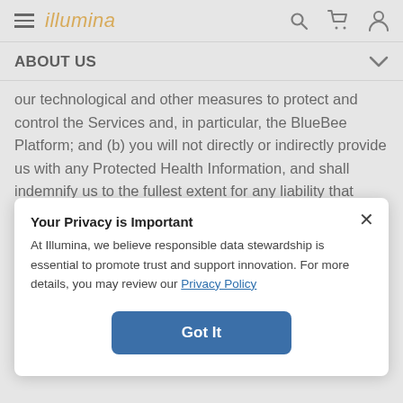illumina
ABOUT US
our technological and other measures to protect and control the Services and, in particular, the BlueBee Platform; and (b) you will not directly or indirectly provide us with any Protected Health Information, and shall indemnify us to the fullest extent for any liability that results from your intentional or inadvertent
Your Privacy is Important
At Illumina, we believe responsible data stewardship is essential to promote trust and support innovation. For more details, you may review our Privacy Policy
Got It